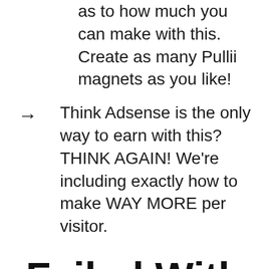as to how much you can make with this. Create as many Pullii magnets as you like!
Think Adsense is the only way to earn with this? THINK AGAIN! We're including exactly how to make WAY MORE per visitor.
Failed With Other